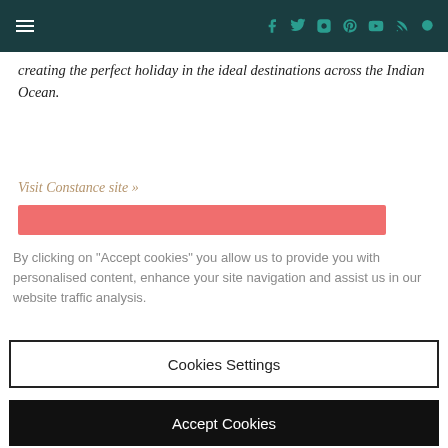Navigation bar with hamburger menu and social icons (Facebook, Twitter, Instagram, Pinterest, YouTube, RSS, Search)
creating the perfect holiday in the ideal destinations across the Indian Ocean.
Visit Constance site »
[Figure (other): Salmon/coral colored horizontal button bar]
By clicking on "Accept cookies" you allow us to provide you with personalised content, enhance your site navigation and assist us in our website traffic analysis.
Cookies Settings
Accept Cookies